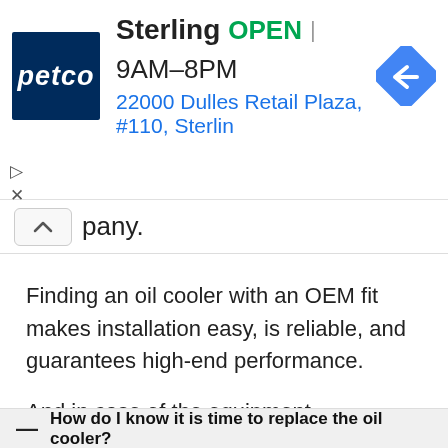[Figure (screenshot): Petco store ad banner showing Sterling location, OPEN status, hours 9AM-8PM, address 22000 Dulles Retail Plaza #110 Sterling, and a blue diamond navigation arrow icon]
pany.
Finding an oil cooler with an OEM fit makes installation easy, is reliable, and guarantees high-end performance.
And in case of the equipment malfunctions, you can get a quick replacement of it.
Frequently Asked Questions
How do I know it is time to replace the oil cooler?